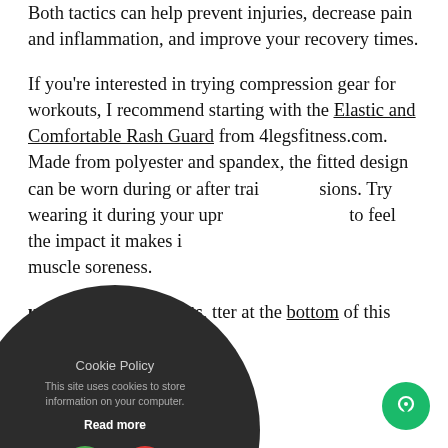Both tactics can help prevent injuries, decrease pain and inflammation, and improve your recovery times.
If you're interested in trying compression gear for workouts, I recommend starting with the Elastic and Comfortable Rash Guard from 4legsfitness.com. Made from polyester and spandex, the fitted design can be worn during or after training sessions. Try wearing it during your upper body workouts to feel the impact it makes in reducing muscle soreness.
...updates and discounts, ...tter at the bottom of this
[Figure (other): Cookie Policy popup overlay: dark circular dialog with title 'Cookie Policy', body text 'This site uses cookies to store information on your computer.', bold 'Read more' link, and two circular buttons — green checkmark (accept) and red X (decline).]
[Figure (other): Bottom-left red triangle with white 'i' info icon.]
[Figure (other): Bottom-right green circle chat bubble icon.]